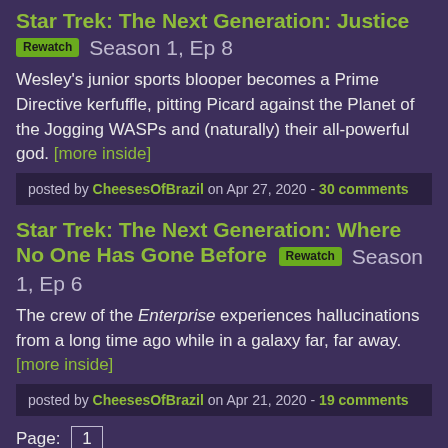Star Trek: The Next Generation: Justice Rewatch Season 1, Ep 8
Wesley's junior sports blooper becomes a Prime Directive kerfuffle, pitting Picard against the Planet of the Jogging WASPs and (naturally) their all-powerful god. [more inside]
posted by CheesesOfBrazil on Apr 27, 2020 - 30 comments
Star Trek: The Next Generation: Where No One Has Gone Before Rewatch Season 1, Ep 6
The crew of the Enterprise experiences hallucinations from a long time ago while in a galaxy far, far away. [more inside]
posted by CheesesOfBrazil on Apr 21, 2020 - 19 comments
Page: 1